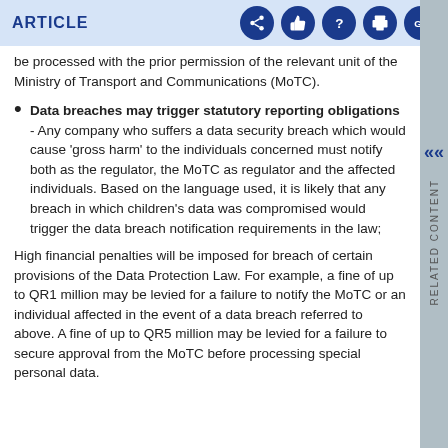ARTICLE
be processed with the prior permission of the relevant unit of the Ministry of Transport and Communications (MoTC).
Data breaches may trigger statutory reporting obligations - Any company who suffers a data security breach which would cause 'gross harm' to the individuals concerned must notify both as the regulator, the MoTC as regulator and the affected individuals. Based on the language used, it is likely that any breach in which children's data was compromised would trigger the data breach notification requirements in the law;
High financial penalties will be imposed for breach of certain provisions of the Data Protection Law. For example, a fine of up to QR1 million may be levied for a failure to notify the MoTC or an individual affected in the event of a data breach referred to above. A fine of up to QR5 million may be levied for a failure to secure approval from the MoTC before processing special personal data.